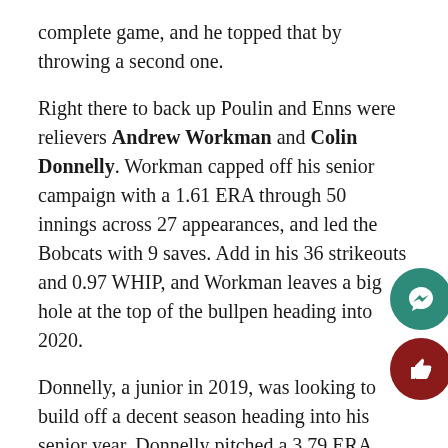complete game, and he topped that by throwing a second one.
Right there to back up Poulin and Enns were relievers Andrew Workman and Colin Donnelly. Workman capped off his senior campaign with a 1.61 ERA through 50 innings across 27 appearances, and led the Bobcats with 9 saves. Add in his 36 strikeouts and 0.97 WHIP, and Workman leaves a big hole at the top of the bullpen heading into 2020.
Donnelly, a junior in 2019, was looking to build off a decent season heading into his senior year. Donnelly pitched a 3.79 ERA through 59.1 innings across 29 appearances, and struck out 51 batters to support 6-1 record. Donnelly likely would've been a go-to guy in the back of the Bobcats' rotation his senior year. Another lost opportunity.